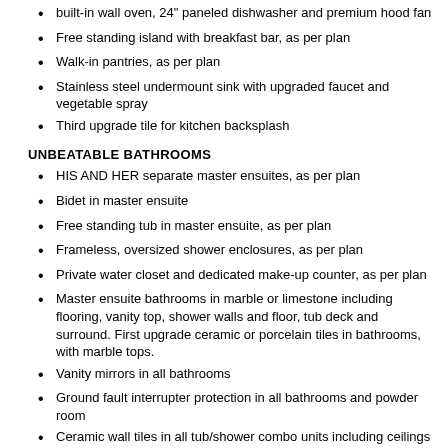built-in wall oven, 24" paneled dishwasher and premium hood fan
Free standing island with breakfast bar, as per plan
Walk-in pantries, as per plan
Stainless steel undermount sink with upgraded faucet and vegetable spray
Third upgrade tile for kitchen backsplash
UNBEATABLE BATHROOMS
HIS AND HER separate master ensuites, as per plan
Bidet in master ensuite
Free standing tub in master ensuite, as per plan
Frameless, oversized shower enclosures, as per plan
Private water closet and dedicated make-up counter, as per plan
Master ensuite bathrooms in marble or limestone including flooring, vanity top, shower walls and floor, tub deck and surround. First upgrade ceramic or porcelain tiles in bathrooms, with marble tops.
Vanity mirrors in all bathrooms
Ground fault interrupter protection in all bathrooms and powder room
Ceramic wall tiles in all tub/shower combo units including ceilings
All showers to receive cement board with tiled walls including ceilings
Master ensuite and powder room to receive upgraded elongated toilet bowls
LAUNDRY ROOMS